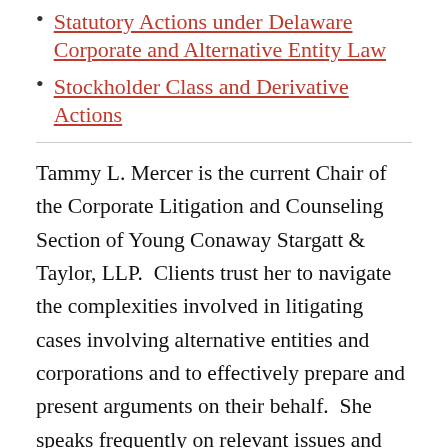Statutory Actions under Delaware Corporate and Alternative Entity Law
Stockholder Class and Derivative Actions
Tammy L. Mercer is the current Chair of the Corporate Litigation and Counseling Section of Young Conaway Stargatt & Taylor, LLP.  Clients trust her to navigate the complexities involved in litigating cases involving alternative entities and corporations and to effectively prepare and present arguments on their behalf.  She speaks frequently on relevant issues and topics and has litigated many of the leading cases in the alternative entity and corporate law area.  Clients rely on her creativity and judgment.  They look to